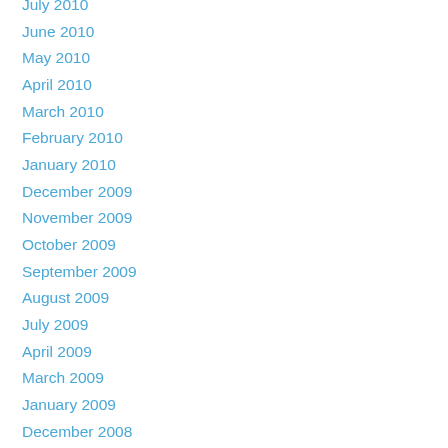July 2010
June 2010
May 2010
April 2010
March 2010
February 2010
January 2010
December 2009
November 2009
October 2009
September 2009
August 2009
July 2009
April 2009
March 2009
January 2009
December 2008
November 2008
October 2008
September 2008